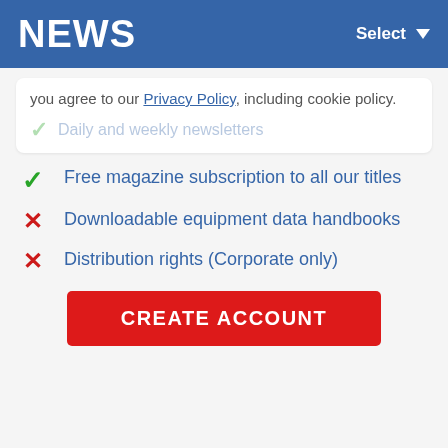NEWS   Select
you agree to our Privacy Policy, including cookie policy.
Free magazine subscription to all our titles
Downloadable equipment data handbooks
Distribution rights (Corporate only)
CREATE ACCOUNT